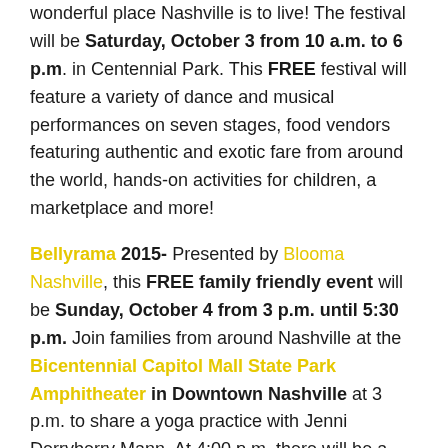wonderful place Nashville is to live! The festival will be Saturday, October 3 from 10 a.m. to 6 p.m. in Centennial Park. This FREE festival will feature a variety of dance and musical performances on seven stages, food vendors featuring authentic and exotic fare from around the world, hands-on activities for children, a marketplace and more!
Bellyrama 2015- Presented by Blooma Nashville, this FREE family friendly event will be Sunday, October 4 from 3 p.m. until 5:30 p.m. Join families from around Nashville at the Bicentennial Capitol Mall State Park Amphitheater in Downtown Nashville at 3 p.m. to share a yoga practice with Jenni Derryberry Mann. At 4:00 p.m. there will be a yoga for kids class with Ashley Drinnon. Other activities scheduled for the day include face painting, belly painting, a photo booth, a marketplace of family-friendly mama-focused products and services, baby wearing demo to kick off International Babywearing Week and the Music City Brisket Truck with special kids menu items and vegetarian options!